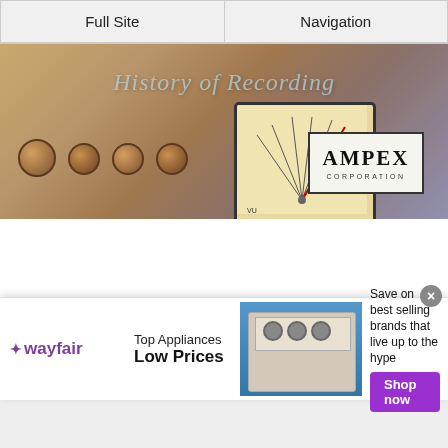Full Site | Navigation
[Figure (photo): History of Recording website banner showing an Ampex Corporation reel-to-reel tape recorder faceplate with knobs, a VU meter, and the Ampex Corporation logo. Text overlay reads 'History of Recording'.]
Greek Alphabet
0-999
A
B
C
D
[Figure (screenshot): Wayfair advertisement banner: 'Top Appliances Low Prices' with an image of a stove/range and text 'Save on best selling brands that live up to the hype' and a purple 'Shop now' button. Infolinks branding visible.]